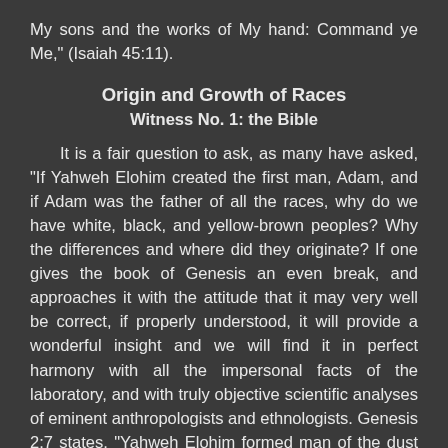My sons and the works of My hand: Command ye Me," (Isaiah 45:11).
Origin and Growth of Races
Witness No. 1: the Bible
It is a fair question to ask, as many have asked, "If Yahweh Elohim created the first man, Adam, and if Adam was the father of all the races, why do we have white, black, and yellow-brown peoples? Why the differences and where did they originate? If one gives the book of Genesis an even break, and approaches it with the attitude that it may very well be correct, if properly understood, it will provide a wonderful insight and we will find it in perfect harmony with all the impersonal facts of the laboratory, and with truly objective scientific analyses of eminent anthropologists and ethnologists. Genesis 2:7 states, "Yahweh Elohim formed man of the dust of the ground" and there we should explain for any readers who may not be aware of it, that in the Bible